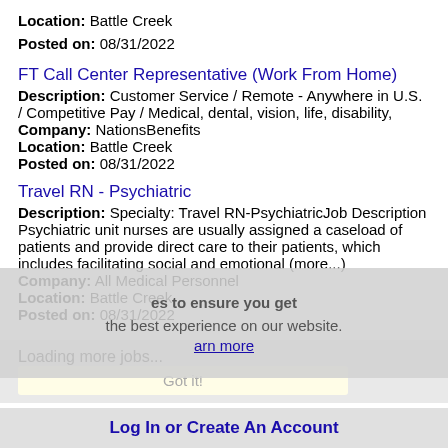Location: Battle Creek
Posted on: 08/31/2022
FT Call Center Representative (Work From Home)
Description: Customer Service / Remote - Anywhere in U.S. / Competitive Pay / Medical, dental, vision, life, disability,
Company: NationsBenefits
Location: Battle Creek
Posted on: 08/31/2022
Travel RN - Psychiatric
Description: Specialty: Travel RN-PsychiatricJob Description Psychiatric unit nurses are usually assigned a caseload of patients and provide direct care to their patients, which includes facilitating social and emotional (more...)
Company: All Medical Personnel
Location: Battle Creek
Posted on: 08/31/2022
es to ensure you get
the best experience on our website.
arn more
Loading more jobs...
Got it!
Log In or Create An Account